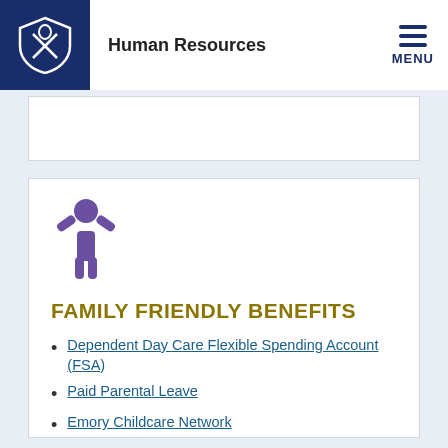Human Resources
[Figure (illustration): Purple person icon with arms raised, representing family/child]
FAMILY FRIENDLY BENEFITS
Dependent Day Care Flexible Spending Account (FSA)
Paid Parental Leave
Emory Childcare Network
Emergency Back-up Care
Lactation Resources
Resources to help you care for your kids
Adult and Elder Care